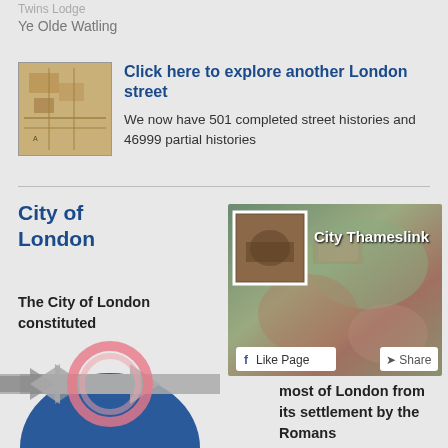Ye Olde Watling
Click here to explore another London street
We now have 501 completed street histories and 46999 partial histories
City of London
The City of London constituted
[Figure (screenshot): Facebook page card for City Thameslink showing aerial map background, thumbnail, Like Page and Share buttons]
[Figure (infographic): Two grey arrow shapes pointing in opposite directions through a pink circle, overlapping a blue semicircle at bottom]
most of London from its settlement by the Romans